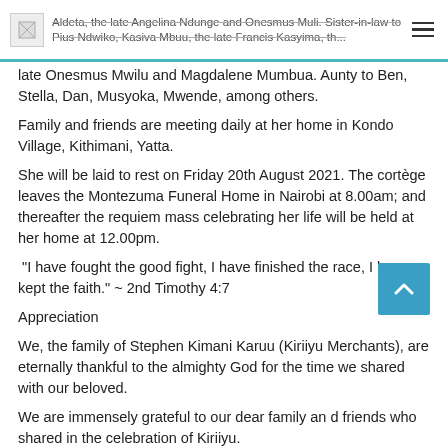Aldeta, the late Angelina Ndunge and Onesmus Muli. Sister-in-law to Pius Ndwiko, Kasiva Mbuu, the late Francis Kasyima, the late Onesmus Mwilu and Magdalene Mumbua.
late Onesmus Mwilu and Magdalene Mumbua. Aunty to Ben, Stella, Dan, Musyoka, Mwende, among others.
Family and friends are meeting daily at her home in Kondo Village, Kithimani, Yatta.
She will be laid to rest on Friday 20th August 2021. The cortège leaves the Montezuma Funeral Home in Nairobi at 8.00am; and thereafter the requiem mass celebrating her life will be held at her home at 12.00pm.
“I have fought the good fight, I have finished the race, I have kept the faith.” ~ 2nd Timothy 4:7
Appreciation
We, the family of Stephen Kimani Karuu (Kiriiyu Merchants), are eternally thankful to the almighty God for the time we shared with our beloved.
We are immensely grateful to our dear family an d friends who shared in the celebration of Kiriiyu.